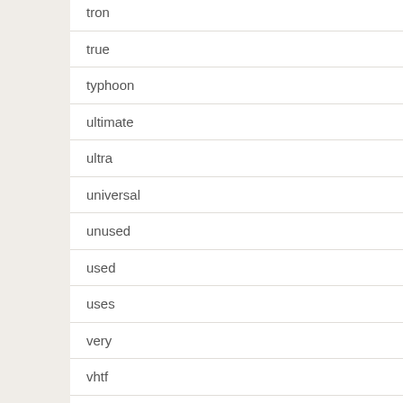tron
true
typhoon
ultimate
ultra
universal
unused
used
uses
very
vhtf
viajamos
victorian